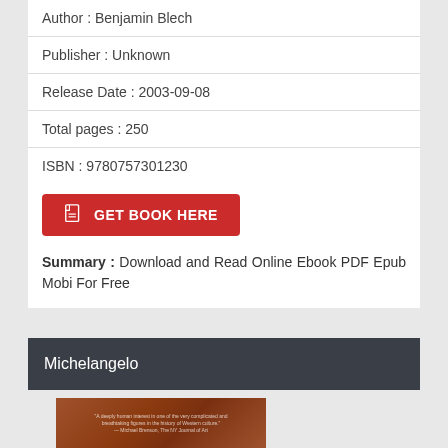Author : Benjamin Blech
Publisher : Unknown
Release Date : 2003-09-08
Total pages : 250
ISBN : 9780757301230
GET BOOK HERE
Summary : Download and Read Online Ebook PDF Epub Mobi For Free
Michelangelo
[Figure (photo): Book cover image with brownish/terracotta background and white text overlay]